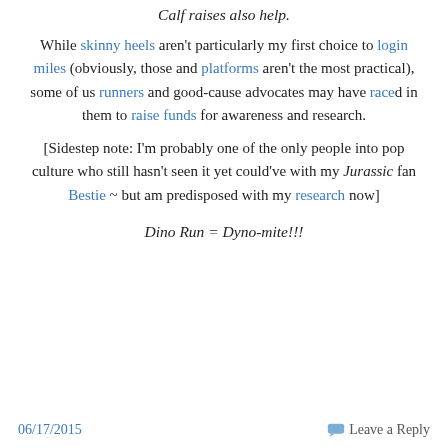Calf raises also help.
While skinny heels aren't particularly my first choice to login miles (obviously, those and platforms aren't the most practical), some of us runners and good-cause advocates may have raced in them to raise funds for awareness and research.
[Sidestep note: I'm probably one of the only people into pop culture who still hasn't seen it yet could've with my Jurassic fan Bestie ~ but am predisposed with my research now]
Dino Run = Dyno-mite!!!
06/17/2015   Leave a Reply